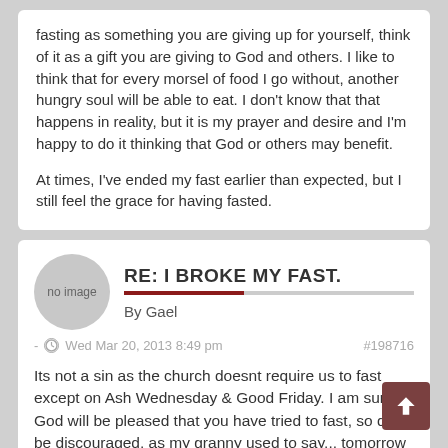fasting as something you are giving up for yourself, think of it as a gift you are giving to God and others. I like to think that for every morsel of food I go without, another hungry soul will be able to eat. I don't know that that happens in reality, but it is my prayer and desire and I'm happy to do it thinking that God or others may benefit.

At times, I've ended my fast earlier than expected, but I still feel the grace for having fasted.
RE: I BROKE MY FAST.
By Gael
- Wed Mar 20, 2013 8:49 pm   #198716
Its not a sin as the church doesnt require us to fast except on Ash Wednesday & Good Friday. I am sure God will be pleased that you have tried to fast, so dont be discouraged, as my granny used to say... tomorrow is a new day!